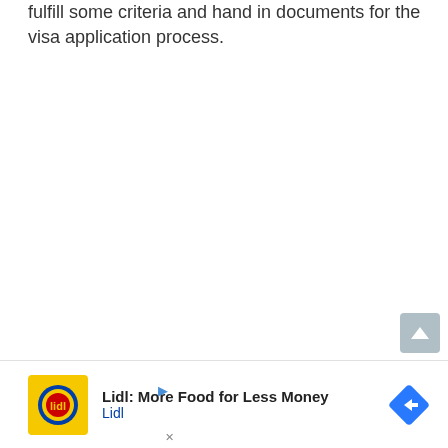fulfill some criteria and hand in documents for the visa application process.
The applicant has to prove professional occupation through diplomas, certifications, and work experience letters...